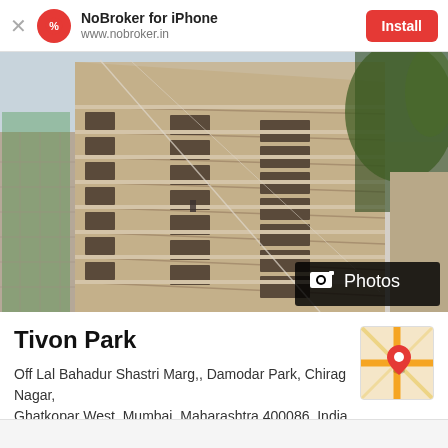NoBroker for iPhone | www.nobroker.in | Install
[Figure (photo): Exterior photo of Tivon Park apartment building, a multi-story beige/tan residential building with balconies, with green scaffolding netting on the left side and trees on the right. A black overlay button reading 'Photos' with a camera icon is visible at the bottom right.]
Tivon Park
[Figure (map): Small map thumbnail showing location pin on a road map, with yellow/orange roads on a beige background.]
Off Lal Bahadur Shastri Marg,, Damodar Park, Chirag Nagar, Ghatkopar West, Mumbai, Maharashtra 400086, India